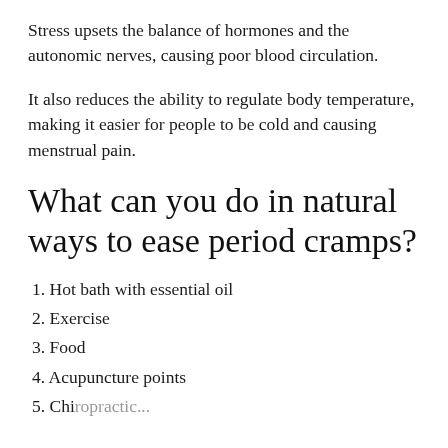Stress upsets the balance of hormones and the autonomic nerves, causing poor blood circulation.
It also reduces the ability to regulate body temperature, making it easier for people to be cold and causing menstrual pain.
What can you do in natural ways to ease period cramps?
1. Hot bath with essential oil
2. Exercise
3. Food
4. Acupuncture points
5. Chiropractic...